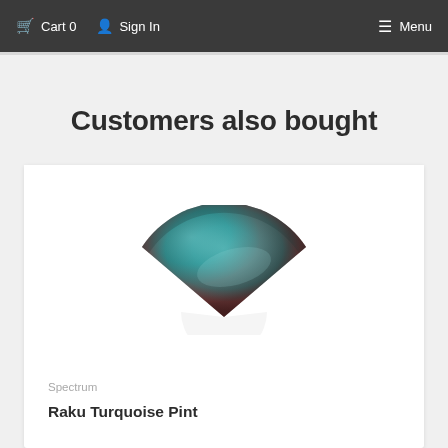Cart 0   Sign In   Menu
Customers also bought
[Figure (photo): A fan-shaped ceramic tile with teal/turquoise and dark reddish-brown raku glaze finish]
Spectrum
Raku Turquoise Pint